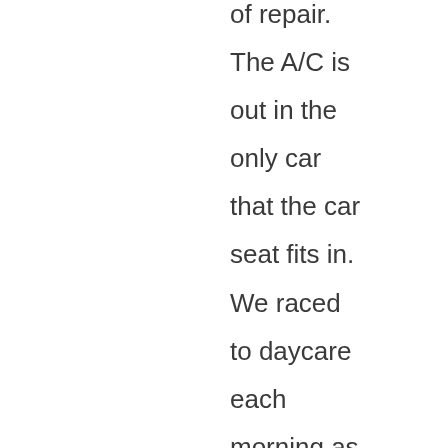of repair. The A/C is out in the only car that the car seat fits in. We raced to daycare each morning as early as possible, and after work I took whatever circuitous route home that would keep the car in motion, hoping the bit of wind might keep